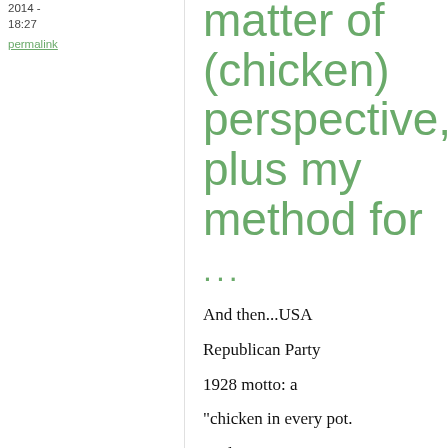2014 - 18:27
permalink
matter of (chicken) perspective, plus my method for
...
And then...USA Republican Party 1928 motto: a "chicken in every pot. And a car in every backyard"